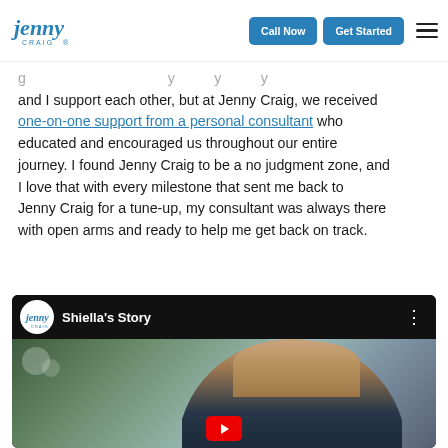Jenny Craig | Call Now | Get Started
g ... y y y and I support each other, but at Jenny Craig, we received one-on-one support from a personal consultant who educated and encouraged us throughout our entire journey. I found Jenny Craig to be a no judgment zone, and I love that with every milestone that sent me back to Jenny Craig for a tune-up, my consultant was always there with open arms and ready to help me get back on track.
[Figure (screenshot): YouTube video embed showing 'Shiella's Story' with Jenny Craig branding. A woman is visible in the video thumbnail with blurred background.]